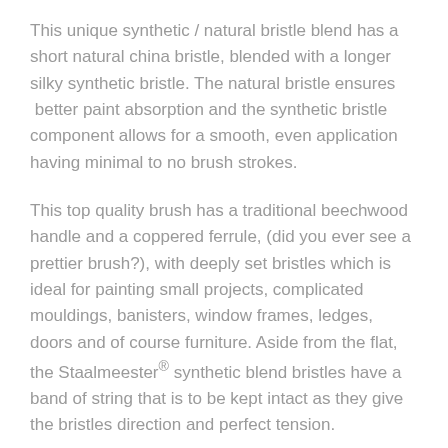This unique synthetic / natural bristle blend has a short natural china bristle, blended with a longer silky synthetic bristle. The natural bristle ensures  better paint absorption and the synthetic bristle component allows for a smooth, even application having minimal to no brush strokes.
This top quality brush has a traditional beechwood handle and a coppered ferrule, (did you ever see a prettier brush?), with deeply set bristles which is ideal for painting small projects, complicated mouldings, banisters, window frames, ledges, doors and of course furniture. Aside from the flat, the Staalmeester® synthetic blend bristles have a band of string that is to be kept intact as they give the bristles direction and perfect tension.
Depending on your painting techniques you can achieve a smooth flawless finish or a unique heavy textured appearance.